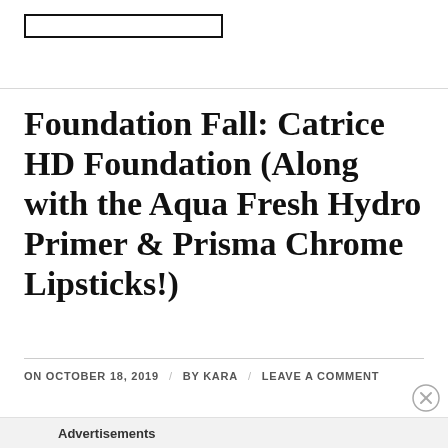Foundation Fall: Catrice HD Foundation (Along with the Aqua Fresh Hydro Primer & Prisma Chrome Lipsticks!)
ON OCTOBER 18, 2019 / BY KARA / LEAVE A COMMENT
Advertisements